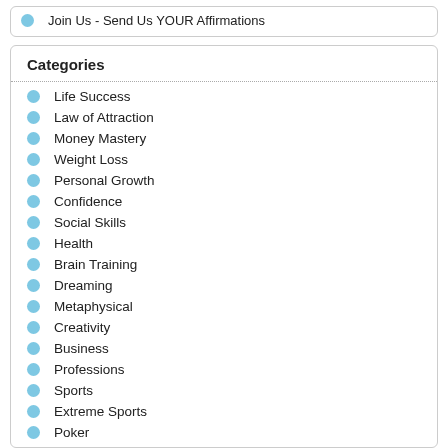Join Us - Send Us YOUR Affirmations
Categories
Life Success
Law of Attraction
Money Mastery
Weight Loss
Personal Growth
Confidence
Social Skills
Health
Brain Training
Dreaming
Metaphysical
Creativity
Business
Professions
Sports
Extreme Sports
Poker